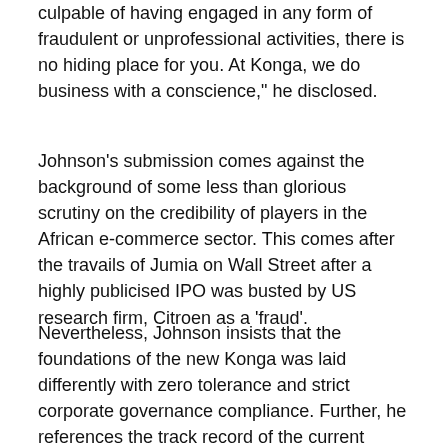culpable of having engaged in any form of fraudulent or unprofessional activities, there is no hiding place for you. At Konga, we do business with a conscience," he disclosed.
Johnson's submission comes against the background of some less than glorious scrutiny on the credibility of players in the African e-commerce sector. This comes after the travails of Jumia on Wall Street after a highly publicised IPO was busted by US research firm, Citroen as a ‘fraud’.
Nevertheless, Johnson insists that the foundations of the new Konga was laid differently with zero tolerance and strict corporate governance compliance. Further, he references the track record of the current owners of the business as guiding lights.